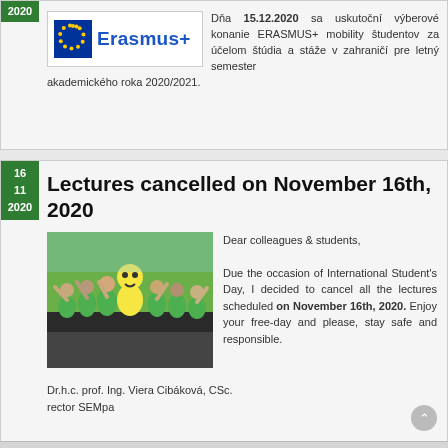2020
[Figure (logo): Erasmus+ logo with EU flag (circle of yellow stars on blue background) and 'Erasmus+' text in blue]
Dňa 15.12.2020 sa uskutoční výberové konanie ERASMUS+ mobility študentov za účelom štúdia a stáže v zahraničí pre letný semester akademického roka 2020/2021.
Lectures cancelled on November 16th, 2020
[Figure (photo): Group photo of students/colleagues wearing green shirts, cheering and waving hands in an indoor setting]
Dear colleagues & students,

Due the occasion of International Student's Day, I decided to cancel all the lectures scheduled on November 16th, 2020. Enjoy your free-day and please, stay safe and responsible.
Dr.h.c. prof. Ing. Viera Cibáková, CSc.
rector SEMpa